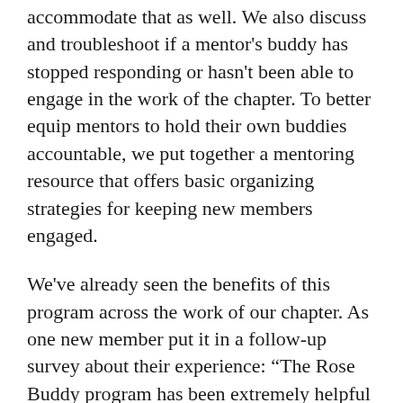accommodate that as well. We also discuss and troubleshoot if a mentor's buddy has stopped responding or hasn't been able to engage in the work of the chapter. To better equip mentors to hold their own buddies accountable, we put together a mentoring resource that offers basic organizing strategies for keeping new members engaged.
We've already seen the benefits of this program across the work of our chapter. As one new member put it in a follow-up survey about their experience: “The Rose Buddy program has been extremely helpful in helping me find my place within DSA and has helped me better form my political identity.” Another wrote: “Without the Rose Buddy program, I might have found it easy to become discouraged and disengaged.” In the span of a few months, we've seen many new members who took part in the program take on leadership roles in chapter campaigns and political education meetings, serve in